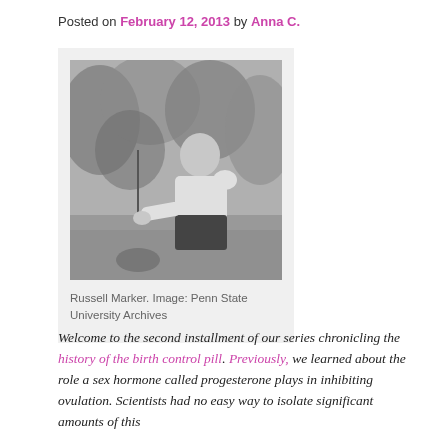Posted on February 12, 2013 by Anna C.
[Figure (photo): Black and white photograph of Russell Marker kneeling outdoors near a small plant, with foliage in the background.]
Russell Marker. Image: Penn State University Archives
Welcome to the second installment of our series chronicling the history of the birth control pill. Previously, we learned about the role a sex hormone called progesterone plays in inhibiting ovulation. Scientists had no easy way to isolate significant amounts of this